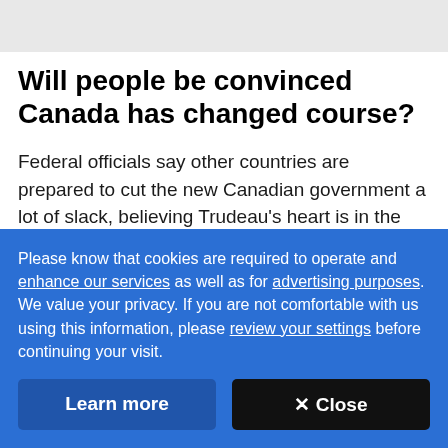Will people be convinced Canada has changed course?
Federal officials say other countries are prepared to cut the new Canadian government a lot of slack, believing Trudeau's heart is in the right place and appreciating that he's been prime minister for less than a month. Still, they need to see some evidence of
Please know that cookies are required to operate and enhance our services as well as for advertising purposes. We value your privacy. If you are not comfortable with us using this information, please review your settings before continuing your visit.
Learn more
✕ Close